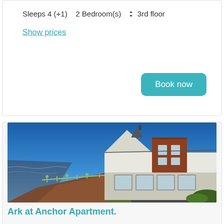Sleeps 4 (+1)  2 Bedroom(s)  ⇕ 3rd floor
Show prices
Book now
[Figure (photo): Exterior photo of Ark at Anchor Apartment, a white building with a pointed gable and red sandstone detail beside a coastline with metal railings and sea visible, clear blue sky.]
Ark at Anchor Apartment.
Sleeps 4 (+1)  2 Bedroom(s)  ⊕ Ground floor